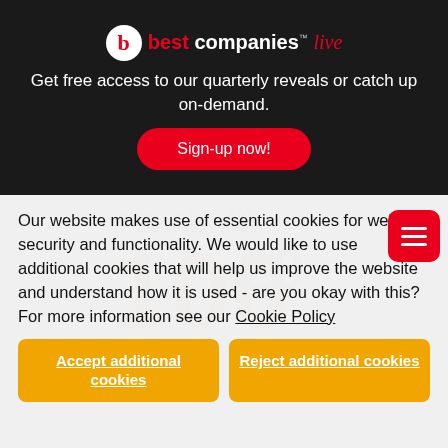[Figure (logo): Best Companies Live logo with red circle 'b' icon and text]
Get free access to our quarterly reveals or catch up on-demand.
Sign-up now!
Our website makes use of essential cookies for website security and functionality. We would like to use additional cookies that will help us improve the website and understand how it is used - are you okay with this? For more information see our Cookie Policy
Accept additional cookies
Reject additional cookies